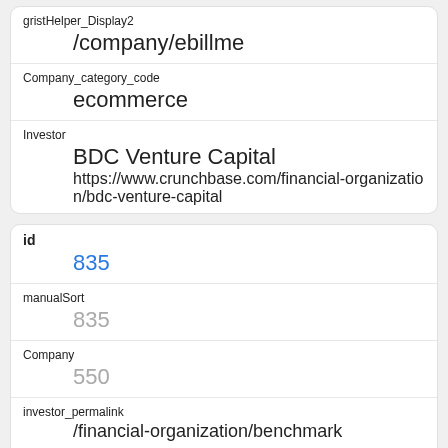| gristHelper_Display2 | /company/ebillme |
| Company_category_code | ecommerce |
| Investor | BDC Venture Capital
https://www.crunchbase.com/financial-organization/bdc-venture-capital |
| id | 835 |
| manualSort | 835 |
| Company | 550 |
| investor_permalink | /financial-organization/benchmark |
| investor_name | Benchmark |
| investor_category_code |  |